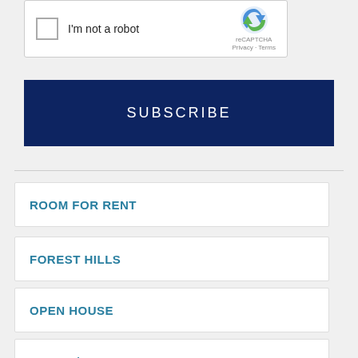[Figure (screenshot): reCAPTCHA widget with checkbox labeled 'I'm not a robot' and reCAPTCHA logo with Privacy · Terms links]
SUBSCRIBE
ROOM FOR RENT
FOREST HILLS
OPEN HOUSE
HOLLIS/JAMAICA